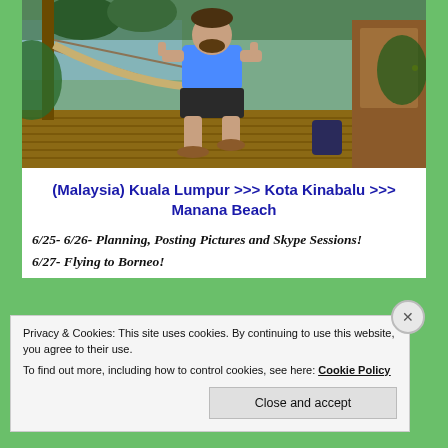[Figure (photo): Man in blue sleeveless shirt sitting on a hammock on a wooden deck, giving thumbs up, with water and tropical vegetation visible in background]
(Malaysia) Kuala Lumpur >>> Kota Kinabalu >>> Manana Beach
6/25- 6/26- Planning, Posting Pictures and Skype Sessions!
6/27- Flying to Borneo!
Privacy & Cookies: This site uses cookies. By continuing to use this website, you agree to their use.
To find out more, including how to control cookies, see here: Cookie Policy
Close and accept